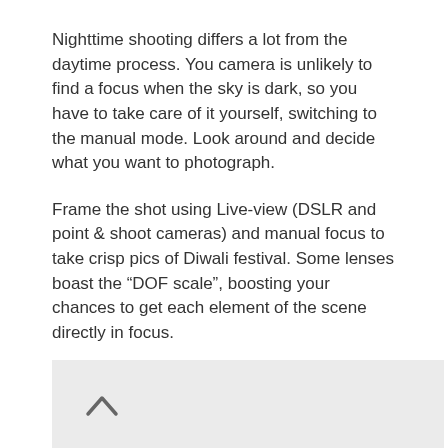Nighttime shooting differs a lot from the daytime process. You camera is unlikely to find a focus when the sky is dark, so you have to take care of it yourself, switching to the manual mode. Look around and decide what you want to photograph.
Frame the shot using Live-view (DSLR and point & shoot cameras) and manual focus to take crisp pics of Diwali festival. Some lenses boast the “DOF scale”, boosting your chances to get each element of the scene directly in focus.
5. Scout Your Location Ahead of Time
[Figure (other): Light gray image placeholder with a chevron/caret up arrow icon in the lower left area]